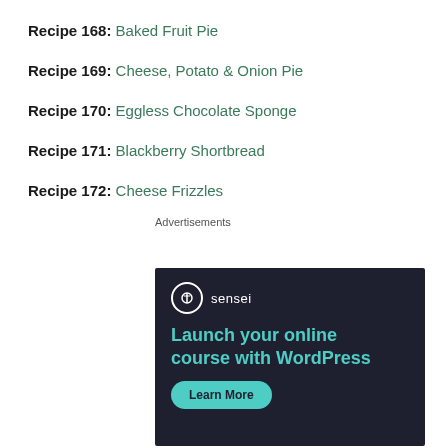Recipe 168: Baked Fruit Pie
Recipe 169: Cheese, Potato & Onion Pie
Recipe 170: Eggless Chocolate Sponge
Recipe 171: Blackberry Shortbread
Recipe 172: Cheese Frizzles
Advertisements
[Figure (illustration): Sensei advertisement banner with dark background showing the Sensei logo, headline 'Launch your online course with WordPress', and a 'Learn More' button in teal.]